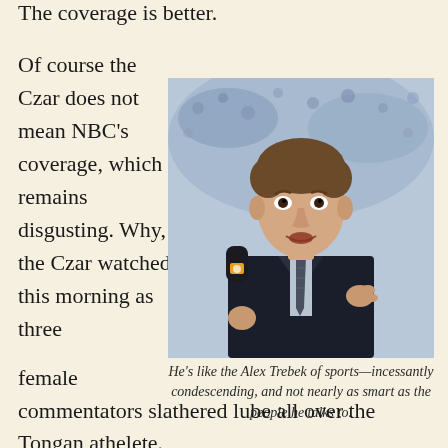The coverage is better.
Of course the Czar does not mean NBC’s coverage, which remains disgusting. Why, the Czar watched this morning as three female commentators slathered lube all over the Tongan athelete. Why, if three men did that to a female, there’d be nothing
[Figure (photo): Photo of a man in a dark suit holding an NBC microphone, speaking or interviewing, with a crowd in the background.]
He’s like the Alex Trebek of sports—incessantly condescending, and not nearly as smart as the people he talks to.